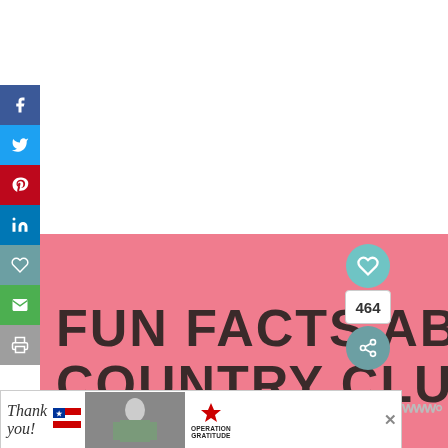[Figure (infographic): Social media share sidebar with Facebook (blue), Twitter (cyan), Pinterest (red), LinkedIn (blue), heart/save (teal), email (green), print (gray) buttons stacked vertically on left edge.]
[Figure (infographic): Pink banner background with action buttons (heart circle teal, count 464, share button) on top-right, and a 'What's Next' box linking to 'What to Do in Kansas City' with a city thumbnail.]
FUN FACTS ABOUT COUNTRY CLUB PLAZA:
[Figure (infographic): Advertisement banner at bottom: 'Thank you!' cursive text with flags and soldier imagery, 'Operation Gratitude' logo with star.]